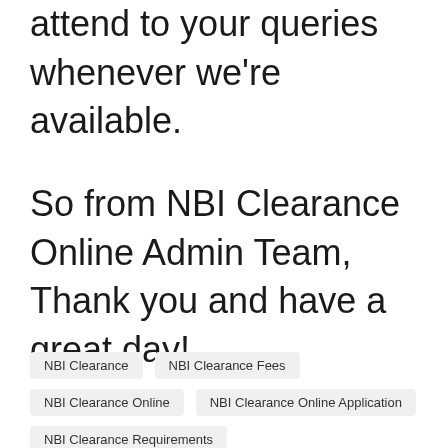attend to your queries whenever we're available.
So from NBI Clearance Online Admin Team, Thank you and have a great day!
NBI Clearance
NBI Clearance Fees
NBI Clearance Online
NBI Clearance Online Application
NBI Clearance Requirements